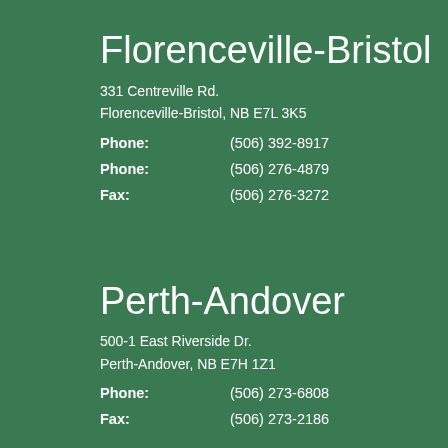Florenceville-Bristol
331 Centreville Rd.
Florenceville-Bristol, NB E7L 3K5
Phone: (506) 392-8917
Phone: (506) 276-4879
Fax: (506) 276-3272
Perth-Andover
500-1 East Riverside Dr.
Perth-Andover, NB E7H 1Z1
Phone: (506) 273-6808
Fax: (506) 273-2186